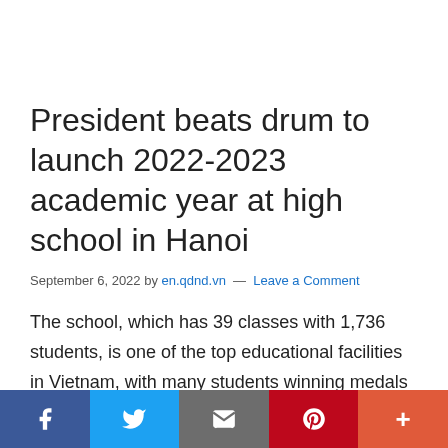President beats drum to launch 2022-2023 academic year at high school in Hanoi
September 6, 2022 by en.qdnd.vn — Leave a Comment
The school, which has 39 classes with 1,736 students, is one of the top educational facilities in Vietnam, with many students winning medals and prizes at regional and international Olympiads.